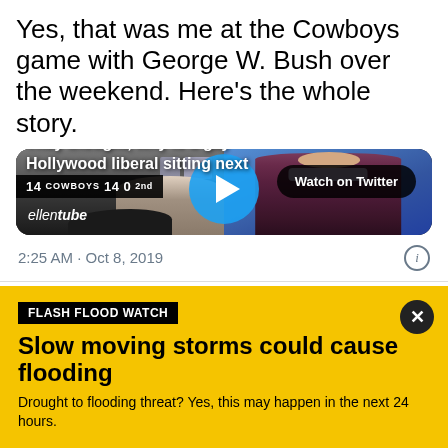Yes, that was me at the Cowboys game with George W. Bush over the weekend. Here's the whole story.
[Figure (screenshot): Split video thumbnail showing left side: George W. Bush and Ellen sitting at a Cowboys football game, right side: Ellen DeGeneres on stage in studio speaking. A blue play button is centered. 'Watch on Twitter' badge in top right. Subtitle text reads 'They thought, why is a gay Hollywood liberal sitting next'. Scoreboard shows 14 COWBOYS 14 0 2nd. ellentube logo bottom left.]
2:25 AM · Oct 8, 2019
FLASH FLOOD WATCH
Slow moving storms could cause flooding
Drought to flooding threat? Yes, this may happen in the next 24 hours.